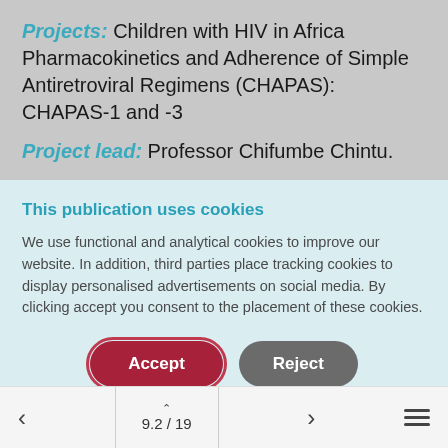Projects: Children with HIV in Africa Pharmacokinetics and Adherence of Simple Antiretroviral Regimens (CHAPAS): CHAPAS-1 and -3
Project lead: Professor Chifumbe Chintu.
This publication uses cookies
We use functional and analytical cookies to improve our website. In addition, third parties place tracking cookies to display personalised advertisements on social media. By clicking accept you consent to the placement of these cookies.
9.2 / 19